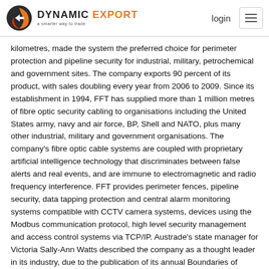DYNAMIC EXPORT — a smarter way to trade | login
kilometres, made the system the preferred choice for perimeter protection and pipeline security for industrial, military, petrochemical and government sites. The company exports 90 percent of its product, with sales doubling every year from 2006 to 2009. Since its establishment in 1994, FFT has supplied more than 1 million metres of fibre optic security cabling to organisations including the United States army, navy and air force, BP, Shell and NATO, plus many other industrial, military and government organisations. The company's fibre optic cable systems are coupled with proprietary artificial intelligence technology that discriminates between false alerts and real events, and are immune to electromagnetic and radio frequency interference. FFT provides perimeter fences, pipeline security, data tapping protection and central alarm monitoring systems compatible with CCTV camera systems, devices using the Modbus communication protocol, high level security management and access control systems via TCP/IP. Austrade's state manager for Victoria Sally-Ann Watts described the company as a thought leader in its industry, due to the publication of its annual Boundaries of Security Report, regarded as the most comprehensive report on current